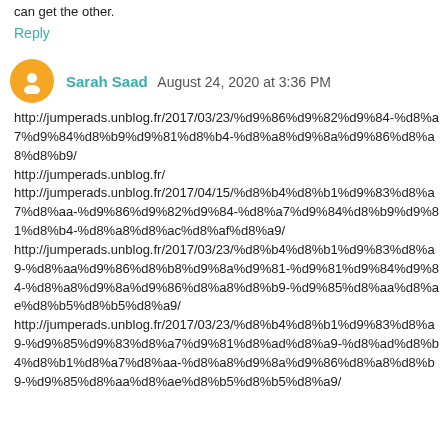can get the other.
Reply
Sarah Saad  August 24, 2020 at 3:36 PM
http://jumperads.unblog.fr/2017/03/23/%d9%86%d9%82%d9%84-%d8%a7%d9%84%d8%b9%d9%81%d8%b4-%d8%a8%d9%8a%d9%86%d8%a8%d8%b9/
http://jumperads.unblog.fr/
http://jumperads.unblog.fr/2017/04/15/%d8%b4%d8%b1%d9%83%d8%a7%d8%aa-%d9%86%d9%82%d9%84-%d8%a7%d9%84%d8%b9%d9%81%d8%b4-%d8%a8%d8%ac%d8%af%d8%a9/
http://jumperads.unblog.fr/2017/03/23/%d8%b4%d8%b1%d9%83%d8%a9-%d8%aa%d9%86%d8%b8%d9%8a%d9%81-%d9%81%d9%84%d9%84-%d8%a8%d9%8a%d9%86%d8%a8%d8%b9-%d9%85%d8%aa%d8%ae%d8%b5%d8%b5%d8%a9/
http://jumperads.unblog.fr/2017/03/23/%d8%b4%d8%b1%d9%83%d8%a9-%d9%85%d9%83%d8%a7%d9%81%d8%ad%d8%a9-